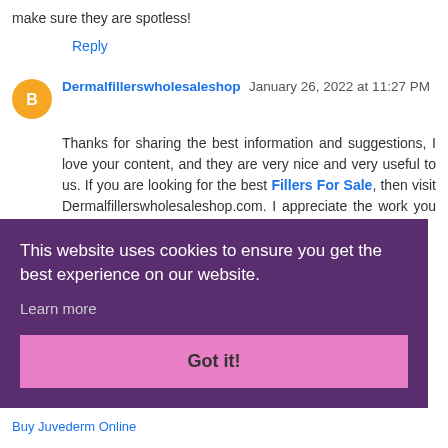make sure they are spotless!
Reply
Dermalfillerswholesaleshop January 26, 2022 at 11:27 PM
Thanks for sharing the best information and suggestions, I love your content, and they are very nice and very useful to us. If you are looking for the best Fillers For Sale, then visit Dermalfillerswholesaleshop.com. I appreciate the work you have put into this.
This website uses cookies to ensure you get the best experience on our website.
Learn more
Got it!
Buy Juvederm Online